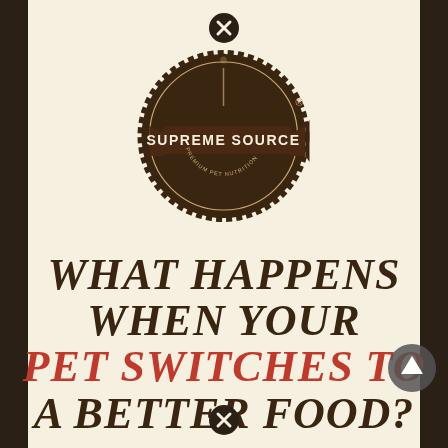[Figure (logo): Supreme Source Premium Pet Nutrition circular badge logo in dark brown with ribbon banner]
WHAT HAPPENS WHEN YOUR PET SWITCHES TO A BETTER FOOD?